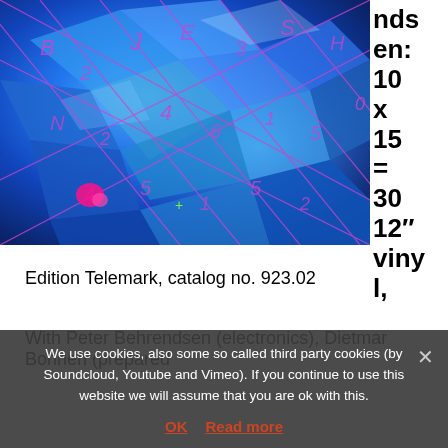[Figure (photo): Close-up photo of blue crystals/gemstones with pink/purple grid overlay and numbers/letters drawn on top]
nds en: 10 x 15 = 30 12″ vinyl,
Edition Telemark, catalog no. 923.02
With Peter Behrendsen (electronics), Dietmar Bonnen (prepared
We use cookies, also some so called third party cookies (by Soundcloud, Youtube and Vimeo). If you continue to use this website we will assume that you are ok with this.
OK  Read more